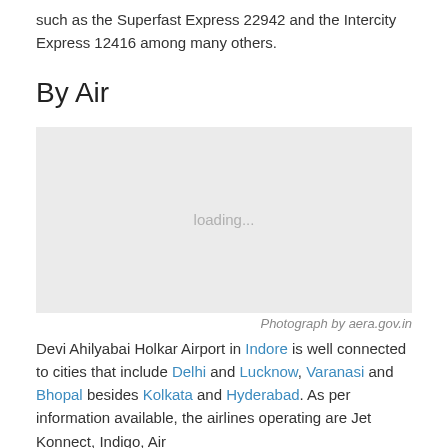such as the Superfast Express 22942 and the Intercity Express 12416 among many others.
By Air
[Figure (photo): A photo placeholder showing 'loading...' text on a light grey background, attributed to aera.gov.in]
Photograph by aera.gov.in
Devi Ahilyabai Holkar Airport in Indore is well connected to cities that include Delhi and Lucknow, Varanasi and Bhopal besides Kolkata and Hyderabad. As per information available, the airlines operating are Jet Konnect, Indigo, Air